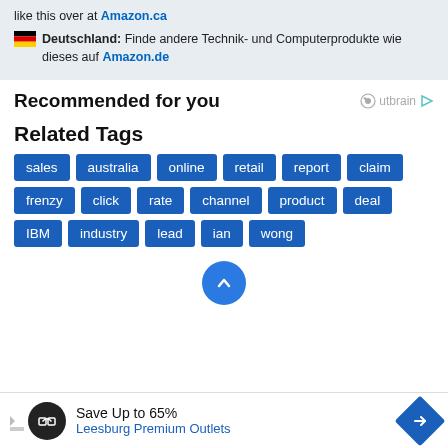like this over at Amazon.ca
Deutschland: Finde andere Technik- und Computerprodukte wie dieses auf Amazon.de
Recommended for you
Related Tags
sales
australia
online
retail
report
claim
frenzy
click
rate
channel
product
deal
IBM
industry
lead
ian
wong
Save Up to 65% Leesburg Premium Outlets